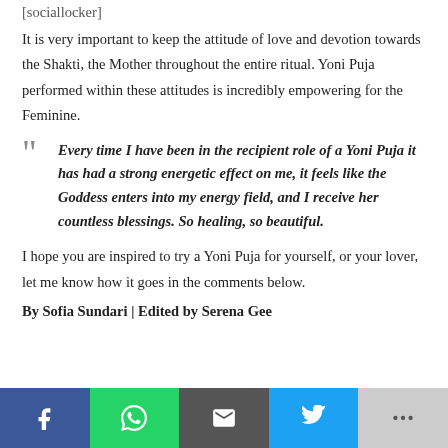[sociallocker]
It is very important to keep the attitude of love and devotion towards the Shakti, the Mother throughout the entire ritual. Yoni Puja performed within these attitudes is incredibly empowering for the Feminine.
Every time I have been in the recipient role of a Yoni Puja it has had a strong energetic effect on me, it feels like the Goddess enters into my energy field, and I receive her countless blessings. So healing, so beautiful.
I hope you are inspired to try a Yoni Puja for yourself, or your lover, let me know how it goes in the comments below.
By Sofia Sundari | Edited by Serena Gee
Facebook | WhatsApp | Email | Twitter | More